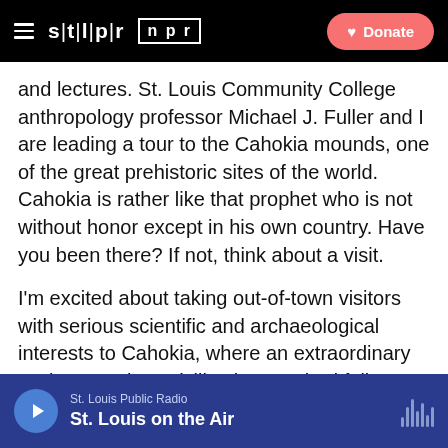STLPR NPR [navigation bar with Donate button]
and lectures. St. Louis Community College anthropology professor Michael J. Fuller and I are leading a tour to the Cahokia mounds, one of the great prehistoric sites of the world. Cahokia is rather like that prophet who is not without honor except in his own country. Have you been there? If not, think about a visit.
I'm excited about taking out-of-town visitors with serious scientific and archaeological interests to Cahokia, where an extraordinary Native American civilization reached full flowering, then vanished. Besides the artifacts and mounds that speak with such affecting dignity of this people and their lives, the explanatory material available in the Cahokia Mounds State Historic Site is
St. Louis Public Radio | St. Louis on the Air